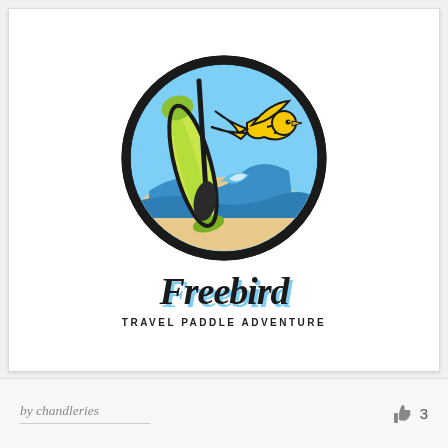[Figure (logo): Freebird Travel Paddle Adventure logo: circular emblem with a green paddleboard and paddle, ocean wave, sandy beach, and a yellow swallow/bird flying, all enclosed in a thick black circle. Below the circle is the script text 'Freebird' in black with a light blue shadow, and the tagline 'TRAVEL PADDLE ADVENTURE' in bold spaced capitals.]
by chandleries
3